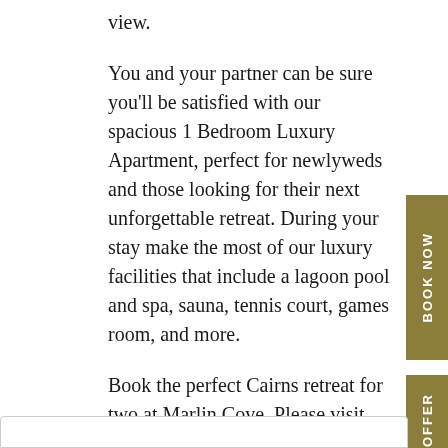view.
You and your partner can be sure you'll be satisfied with our spacious 1 Bedroom Luxury Apartment, perfect for newlyweds and those looking for their next unforgettable retreat. During your stay make the most of our luxury facilities that include a lagoon pool and spa, sauna, tennis court, games room, and more.
Book the perfect Cairns retreat for two at Marlin Cove. Please visit https://marlincoveresort.etourism.net.au